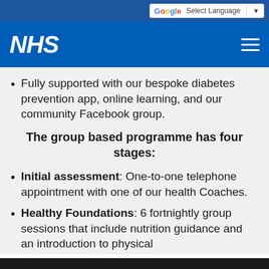Select Language
NHS
Fully supported with our bespoke diabetes prevention app, online learning, and our community Facebook group.
The group based programme has four stages:
Initial assessment: One-to-one telephone appointment with one of our health Coaches.
Healthy Foundations: 6 fortnightly group sessions that include nutrition guidance and an introduction to physical